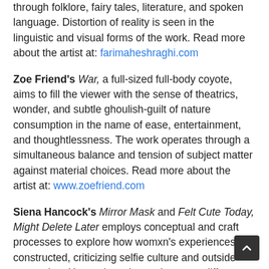through folklore, fairy tales, literature, and spoken language. Distortion of reality is seen in the linguistic and visual forms of the work. Read more about the artist at: farimaheshraghi.com
Zoe Friend's War, a full-sized full-body coyote, aims to fill the viewer with the sense of theatrics, wonder, and subtle ghoulish-guilt of nature consumption in the name of ease, entertainment, and thoughtlessness. The work operates through a simultaneous balance and tension of subject matter against material choices. Read more about the artist at: www.zoefriend.com
Siena Hancock's Mirror Mask and Felt Cute Today, Might Delete Later employs conceptual and craft processes to explore how womxn's experiences are constructed, criticizing selfie culture and outside perception. Hancock pushes to integrate different perspectives in her work. She also strives to produce work built upon her own research and observations on how humans process information and conveys those findings through traditional forms of art